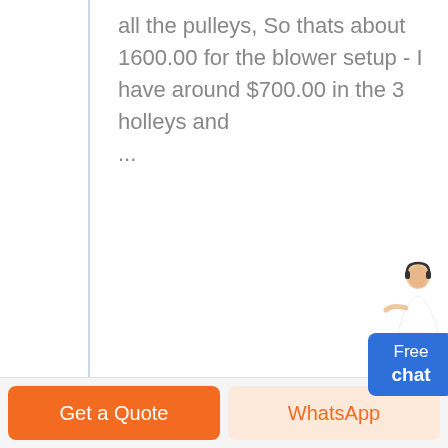all the pulleys, So thats about 1600.00 for the blower setup - I have around $700.00 in the 3 holleys and ...
[Figure (other): READ MORE button — a pill-shaped outlined button with uppercase text]
[Figure (other): Free chat widget — a cartoon agent figure with a blue rounded button labeled 'Free chat']
Get a Quote
WhatsApp